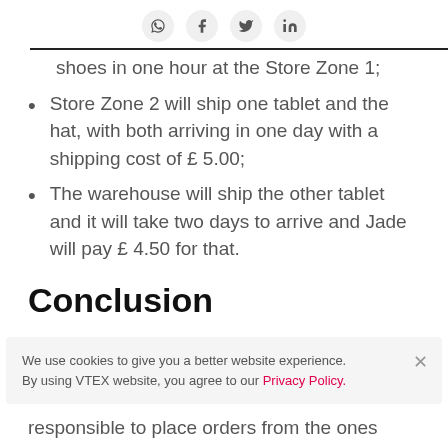[Social share icons: WhatsApp, Facebook, Twitter, LinkedIn]
shoes in one hour at the Store Zone 1;
Store Zone 2 will ship one tablet and the hat, with both arriving in one day with a shipping cost of £ 5.00;
The warehouse will ship the other tablet and it will take two days to arrive and Jade will pay £ 4.50 for that.
Conclusion
We use cookies to give you a better website experience. By using VTEX website, you agree to our Privacy Policy.
responsible to place orders from the ones